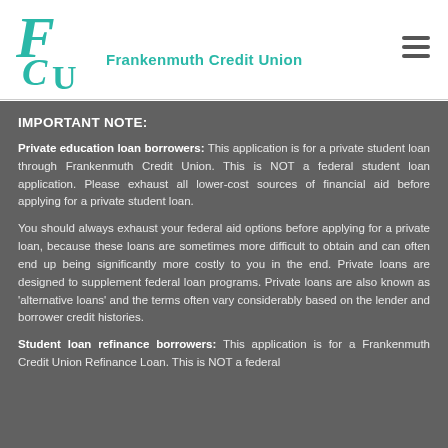[Figure (logo): Frankenmuth Credit Union logo with stylized FCU letters in teal and the text 'Frankenmuth Credit Union']
IMPORTANT NOTE:
Private education loan borrowers: This application is for a private student loan through Frankenmuth Credit Union. This is NOT a federal student loan application. Please exhaust all lower-cost sources of financial aid before applying for a private student loan.
You should always exhaust your federal aid options before applying for a private loan, because these loans are sometimes more difficult to obtain and can often end up being significantly more costly to you in the end. Private loans are designed to supplement federal loan programs. Private loans are also known as 'alternative loans' and the terms often vary considerably based on the lender and borrower credit histories.
Student loan refinance borrowers: This application is for a Frankenmuth Credit Union Refinance Loan. This is NOT a federal